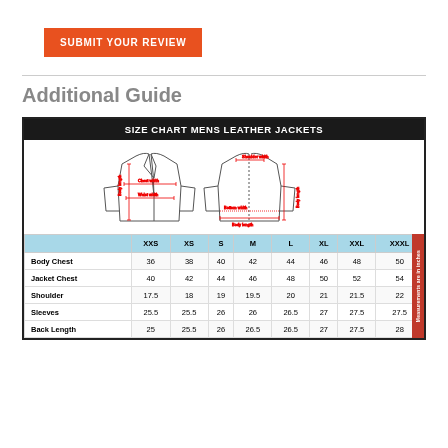[Figure (other): Orange button labeled SUBMIT YOUR REVIEW]
Additional Guide
[Figure (table-as-image): Size Chart Mens Leather Jackets with jacket diagrams showing measurements and a data table. Headers: XXS, XS, S, M, L, XL, XXL, XXXL. Rows: Body Chest: 36, 38, 40, 42, 44, 46, 48, 50; Jacket Chest: 40, 42, 44, 46, 48, 50, 52, 54; Shoulder: 17.5, 18, 19, 19.5, 20, 21, 21.5, 22; Sleeves: 25.5, 25.5, 26, 26, 26.5, 27, 27.5, 27.5; Back Length: 25, 25.5, 26, 26.5, 26.5, 27, 27.5, 28]